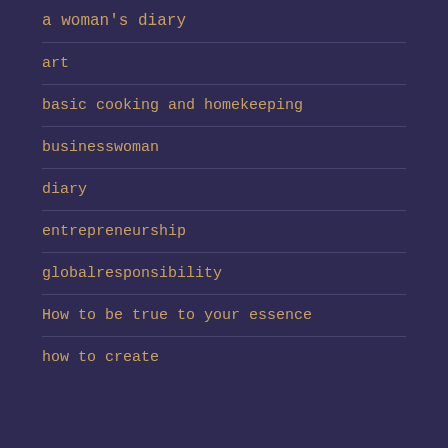a woman's diary
art
basic cooking and homekeeping
businesswoman
diary
entrepreneurship
globalresponsibility
How to be true to your essence
how to create